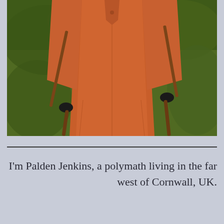[Figure (photo): A person wearing an orange/rust-coloured long tunic or kurta, holding two wooden walking crutches, standing in front of green foliage. Only the torso and hands are visible, not the face.]
I'm Palden Jenkins, a polymath living in the far west of Cornwall, UK.